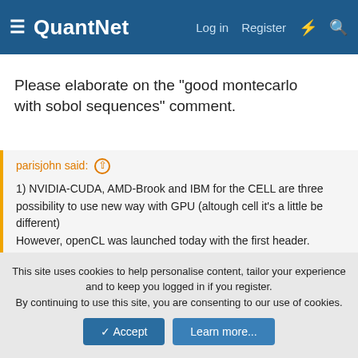QuantNet | Log in | Register
Please elaborate on the "good montecarlo with sobol sequences" comment.
parisjohn said: ↑

1) NVIDIA-CUDA, AMD-Brook and IBM for the CELL are three possibility to use new way with GPU (altough cell it's a little be different)
However, openCL was launched today with the first header.
I think it would be the solution in the future
OpenCL - Wikipedia, the free encyclopedia
2) right
3) you can see this monster AMD CL Tesla Personal Supercomputer

Click to expand...
This site uses cookies to help personalise content, tailor your experience and to keep you logged in if you register.
By continuing to use this site, you are consenting to our use of cookies.